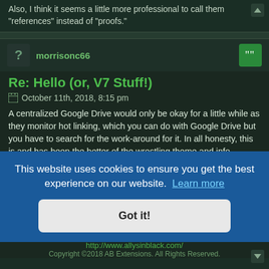Also, I think it seems a little more professional to call them "references" instead of "proofs."
morrisonc66
Re: Hello (or, V7 Stuff!)
October 11th, 2018, 8:15 pm
A centralized Google Drive would only be okay for a little while as they monitor hot linking, which you can do with Google Drive but you have to search for the work-around for it. In all honesty, this is and has been the better of the wrestling theme and info archives in years. I have been a member of this site for a decade plus now; there should be one server to host the DNS for web development and deployment and another server for retrieval of file like MP3's and Videos; however, the method of going about it is the ... or free
This website uses cookies to ensure you get the best experience on our website.
Learn more
Got it!
http://www.allysinblack.com/
Copyright © 2018 AB Extensions. All Rights Reserved.